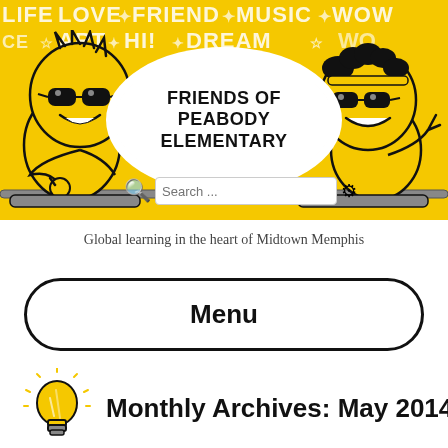[Figure (illustration): Friends of Peabody Elementary website header banner with yellow background, cartoon characters (two stylized figures with glasses), word cloud text (Life, Love, Friend, Music, Wow, Art, Hi, Dream), speech bubble with school name, and search bar]
FRIENDS OF PEABODY ELEMENTARY
Global learning in the heart of Midtown Memphis
Menu
Monthly Archives: May 2014